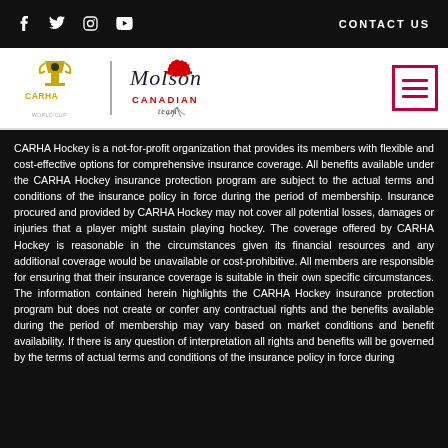f  t  (instagram)  (youtube)    CONTACT US
[Figure (logo): CARHA Hockey World Cup logo and Molson Canadian logo side by side with a hamburger menu button]
CARHA Hockey is a not-for-profit organization that provides its members with flexible and cost-effective options for comprehensive insurance coverage. All benefits available under the CARHA Hockey insurance protection program are subject to the actual terms and conditions of the insurance policy in force during the period of membership. Insurance procured and provided by CARHA Hockey may not cover all potential losses, damages or injuries that a player might sustain playing hockey. The coverage offered by CARHA Hockey is reasonable in the circumstances given its financial resources and any additional coverage would be unavailable or cost-prohibitive. All members are responsible for ensuring that their insurance coverage is suitable in their own specific circumstances. The information contained herein highlights the CARHA Hockey insurance protection program but does not create or confer any contractual rights and the benefits available during the period of membership may vary based on market conditions and benefit availability. If there is any question of interpretation all rights and benefits will be governed by the terms of actual terms and conditions of the insurance policy in force during